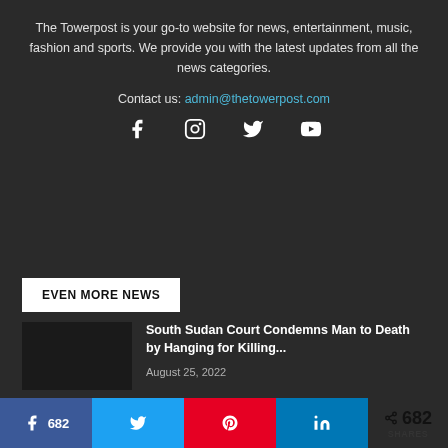The Towerpost is your go-to website for news, entertainment, music, fashion and sports. We provide you with the latest updates from all the news categories.
Contact us: admin@thetowerpost.com
[Figure (infographic): Social media icons: Facebook, Instagram, Twitter, YouTube]
EVEN MORE NEWS
South Sudan Court Condemns Man to Death by Hanging for Killing...
August 25, 2022
Salva Kiir Welcomes New U.S Ambassador to South Sudan
682 shares — Facebook, Twitter, Pinterest, LinkedIn share buttons